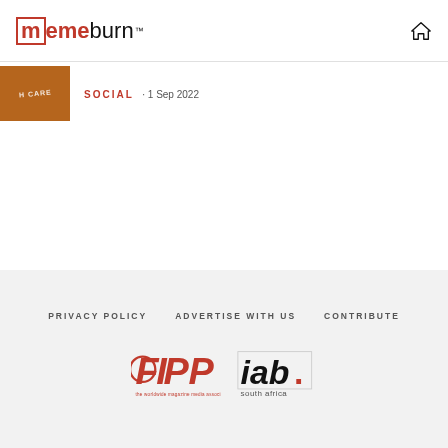memeburn™
SOCIAL · 1 Sep 2022
PRIVACY POLICY   ADVERTISE WITH US   CONTRIBUTE